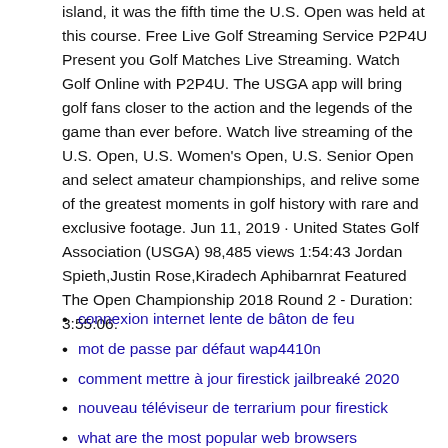island, it was the fifth time the U.S. Open was held at this course. Free Live Golf Streaming Service P2P4U Present you Golf Matches Live Streaming. Watch Golf Online with P2P4U. The USGA app will bring golf fans closer to the action and the legends of the game than ever before. Watch live streaming of the U.S. Open, U.S. Women's Open, U.S. Senior Open and select amateur championships, and relive some of the greatest moments in golf history with rare and exclusive footage. Jun 11, 2019 · United States Golf Association (USGA) 98,485 views 1:54:43 Jordan Spieth,Justin Rose,Kiradech Aphibarnrat Featured The Open Championship 2018 Round 2 - Duration: 3:55:06.
connexion internet lente de bâton de feu
mot de passe par défaut wap4410n
comment mettre à jour firestick jailbreaké 2020
nouveau téléviseur de terrarium pour firestick
what are the most popular web browsers
comment mesurer votre adresse ip pour windows 7